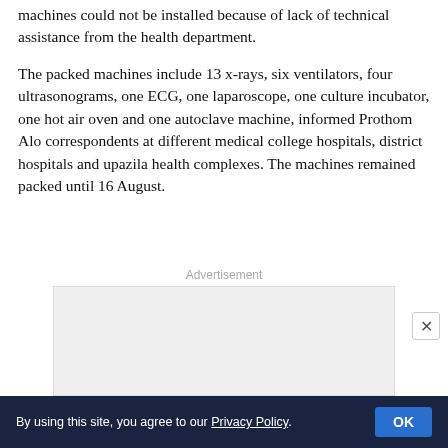machines could not be installed because of lack of technical assistance from the health department.
The packed machines include 13 x-rays, six ventilators, four ultrasonograms, one ECG, one laparoscope, one culture incubator, one hot air oven and one autoclave machine, informed Prothom Alo correspondents at different medical college hospitals, district hospitals and upazila health complexes. The machines remained packed until 16 August.
[Figure (other): Advertisement placeholder box]
By using this site, you agree to our Privacy Policy. OK